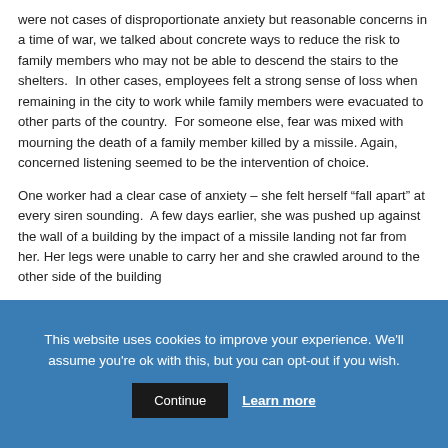were not cases of disproportionate anxiety but reasonable concerns in a time of war, we talked about concrete ways to reduce the risk to family members who may not be able to descend the stairs to the shelters.  In other cases, employees felt a strong sense of loss when remaining in the city to work while family members were evacuated to other parts of the country.  For someone else, fear was mixed with mourning the death of a family member killed by a missile. Again, concerned listening seemed to be the intervention of choice.
One worker had a clear case of anxiety – she felt herself “fall apart” at every siren sounding.  A few days earlier, she was pushed up against the wall of a building by the impact of a missile landing not far from her. Her legs were unable to carry her and she crawled around to the other side of the building
This website uses cookies to improve your experience. We'll assume you're ok with this, but you can opt-out if you wish.